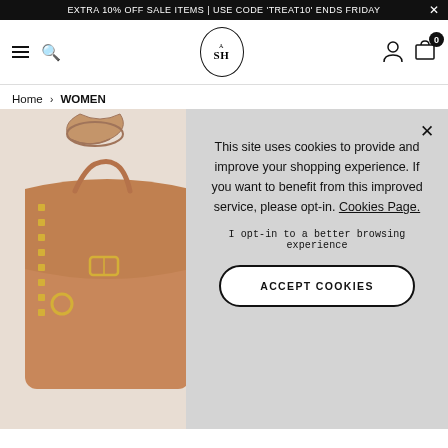EXTRA 10% OFF SALE ITEMS | USE CODE 'TREAT10' ENDS FRIDAY
[Figure (logo): ASH brand logo oval with A on top and SH below]
Home > WOMEN
[Figure (photo): Brown leather studded handbag with braided strap and gold hardware]
This site uses cookies to provide and improve your shopping experience. If you want to benefit from this improved service, please opt-in. Cookies Page.
I opt-in to a better browsing experience
ACCEPT COOKIES